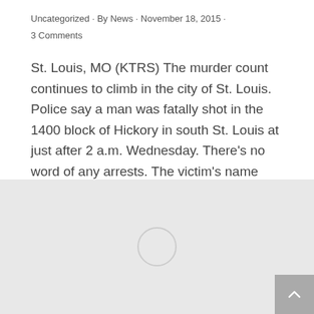Uncategorized · By News · November 18, 2015 · 3 Comments
St. Louis, MO (KTRS) The murder count continues to climb in the city of St. Louis. Police say a man was fatally shot in the 1400 block of Hickory in south St. Louis at just after 2 a.m. Wednesday. There's no word of any arrests. The victim's name hasn't been released. This brings the unofficial…
[Figure (other): Gray loading area with circular spinner and a back-to-top arrow button in the bottom right corner]